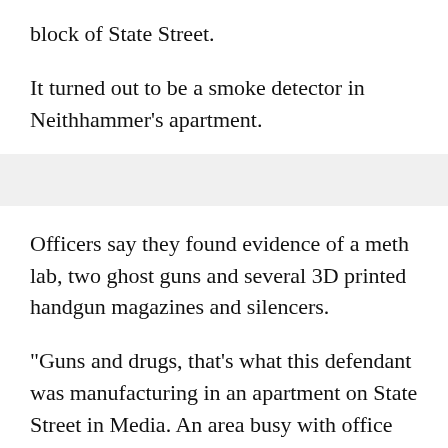block of State Street.
It turned out to be a smoke detector in Neithhammer's apartment.
Officers say they found evidence of a meth lab, two ghost guns and several 3D printed handgun magazines and silencers.
"Guns and drugs, that's what this defendant was manufacturing in an apartment on State Street in Media. An area busy with office workers as well as children, and only a block away from the courthouse. In addition to the obvious dangers of the products he was producing, the defendant